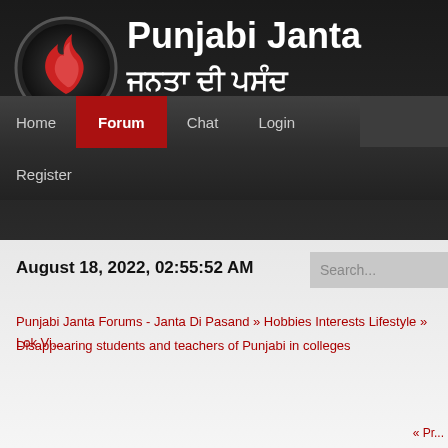[Figure (logo): Punjabi Janta flame logo inside a dark circle]
Punjabi Janta
ਜਨਤਾ ਦੀ ਪਸੰਦ
Home  Forum  Chat  Login
Register
August 18, 2022, 02:55:52 AM
Search...
Punjabi Janta Forums - Janta Di Pasand » Hobbies Interests Lifestyle » Lok Vi... Disappearing students and teachers of Punjabi in colleges